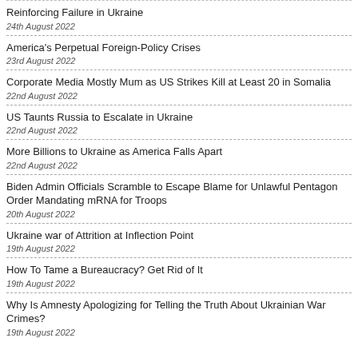Reinforcing Failure in Ukraine
24th August 2022
America's Perpetual Foreign-Policy Crises
23rd August 2022
Corporate Media Mostly Mum as US Strikes Kill at Least 20 in Somalia
22nd August 2022
US Taunts Russia to Escalate in Ukraine
22nd August 2022
More Billions to Ukraine as America Falls Apart
22nd August 2022
Biden Admin Officials Scramble to Escape Blame for Unlawful Pentagon Order Mandating mRNA for Troops
20th August 2022
Ukraine war of Attrition at Inflection Point
19th August 2022
How To Tame a Bureaucracy? Get Rid of It
19th August 2022
Why Is Amnesty Apologizing for Telling the Truth About Ukrainian War Crimes?
19th August 2022